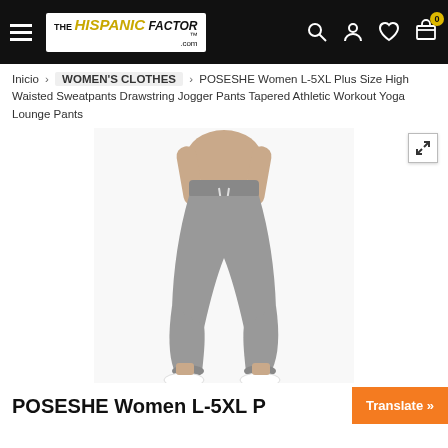The Hispanic Factor - Navigation header with logo, search, account, wishlist, and cart icons
Inicio › WOMEN'S CLOTHES › POSESHE Women L-5XL Plus Size High Waisted Sweatpants Drawstring Jogger Pants Tapered Athletic Workout Yoga Lounge Pants
[Figure (photo): Woman wearing grey high-waisted jogger sweatpants with drawstring and white sneakers, cropped top showing midriff]
POSESHE Women L-5XL P